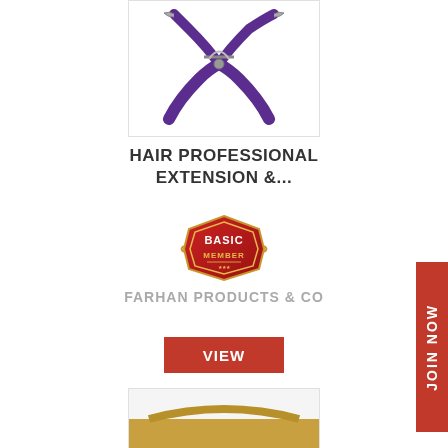[Figure (photo): Purple hair extension pliers/scissors tool on white background]
HAIR PROFESSIONAL EXTENSION &...
[Figure (logo): Basic Member badge - red badge with gold border, text BASIC MEMBER]
FARHAN PRODUCTS & CO
[Figure (other): VIEW button - red rectangle with white text]
[Figure (other): JOIN NOW vertical tab on right side - red background white text]
[Figure (photo): Second product image partially visible at bottom - gold/yellow colored item]